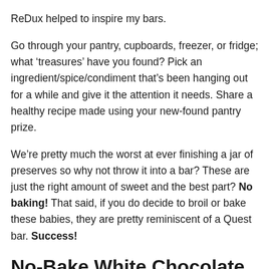ReDux helped to inspire my bars.
Go through your pantry, cupboards, freezer, or fridge; what ‘treasures’ have you found? Pick an ingredient/spice/condiment that’s been hanging out for a while and give it the attention it needs. Share a healthy recipe made using your new-found pantry prize.
We’re pretty much the worst at ever finishing a jar of preserves so why not throw it into a bar? These are just the right amount of sweet and the best part? No baking! That said, if you do decide to broil or bake these babies, they are pretty reminiscent of a Quest bar. Success!
No-Bake White Chocolate Raspberry
Protein Bars